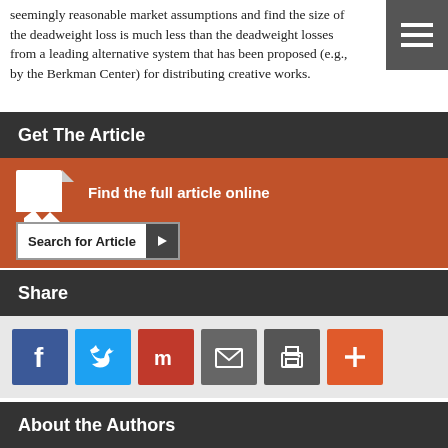seemingly reasonable market assumptions and find the size of the deadweight loss is much less than the deadweight losses from a leading alternative system that has been proposed (e.g., by the Berkman Center) for distributing creative works.
Get The Article
Find the full article online
Search for Article
Share
[Figure (infographic): Social sharing icons: Facebook (blue), Twitter (blue), Mix/StumbleUpon (red), Email (gray), Print (gray), More/Plus (red-orange)]
About the Authors
[Figure (photo): Headshot photo of Stan Liebowitz]
Stan Liebowitz
Ashbel Smith Professor of Economics
School of Management
University of Texas at Dallas